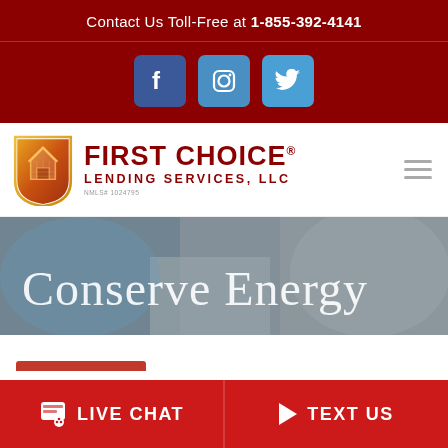Contact Us Toll-Free at 1-855-392-4141
[Figure (logo): Social media icons: Facebook, Instagram, Twitter on dark red background]
[Figure (logo): First Choice Lending Services, LLC logo with shield icon and brand name]
[Figure (photo): Hero image showing two children holding hands with text overlay 'Conserve Energy']
Conserve Energy
LIVE CHAT  TEXT US